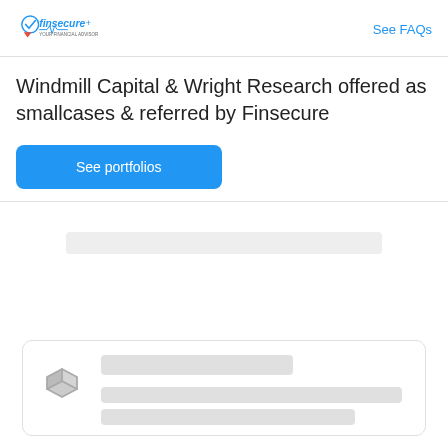Finsecure - Your Financial Advisor | See FAQs
Windmill Capital & Wright Research offered as smallcases & referred by Finsecure
See portfolios
[Figure (screenshot): Loading skeleton UI with gray placeholder bars representing content loading state]
[Figure (screenshot): Card with 3D box icon and skeleton loading placeholder lines for title and description text]